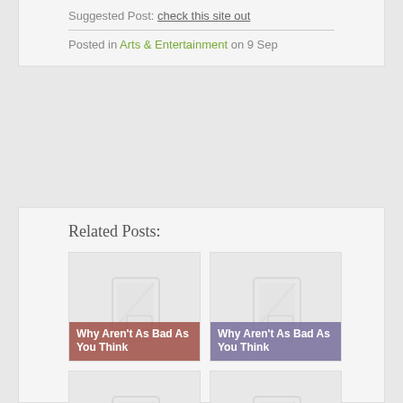Suggested Post: check this site out
Posted in Arts & Entertainment on 9 Sep
Related Posts:
[Figure (illustration): Placeholder image thumbnail with diagonal slash icon for 'Why Aren't As Bad As You Think' post (brown overlay)]
[Figure (illustration): Placeholder image thumbnail with diagonal slash icon for 'Why Aren't As Bad As You Think' post (purple overlay)]
[Figure (illustration): Placeholder image thumbnail with diagonal slash icon for 'The 4 Most' post (blue overlay)]
[Figure (illustration): Placeholder image thumbnail with diagonal slash icon for 'The 4 Most' post (mauve overlay)]